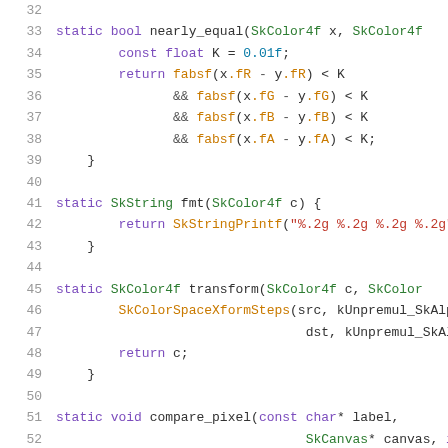Code snippet showing C++ functions: nearly_equal, fmt, transform, compare_pixel (lines 32-52)